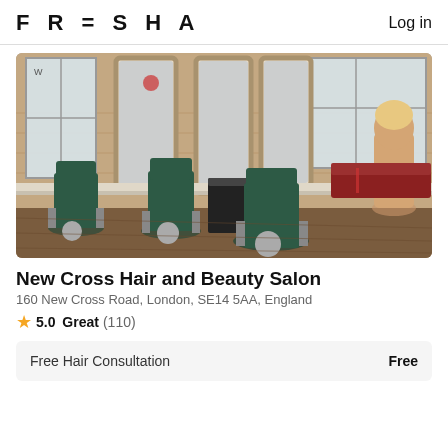FRESHA   Log in
[Figure (photo): Interior of New Cross Hair and Beauty Salon showing green barber chairs, ornate silver-framed mirrors against exposed brick wall, and a mannequin bust on the right side.]
New Cross Hair and Beauty Salon
160 New Cross Road, London, SE14 5AA, England
5.0 Great (110)
Free Hair Consultation   Free